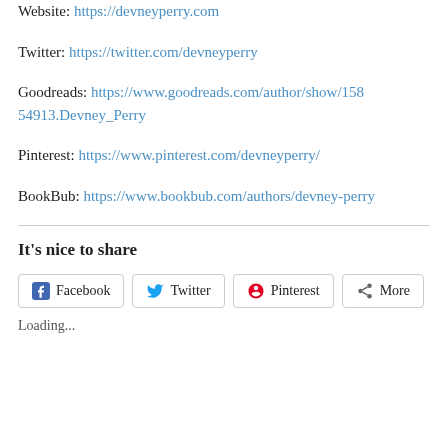Website: https://devneyperry.com
Twitter: https://twitter.com/devneyperry
Goodreads: https://www.goodreads.com/author/show/15854913.Devney_Perry
Pinterest: https://www.pinterest.com/devneyperry/
BookBub: https://www.bookbub.com/authors/devney-perry
It's nice to share
Facebook  Twitter  Pinterest  More
Loading...